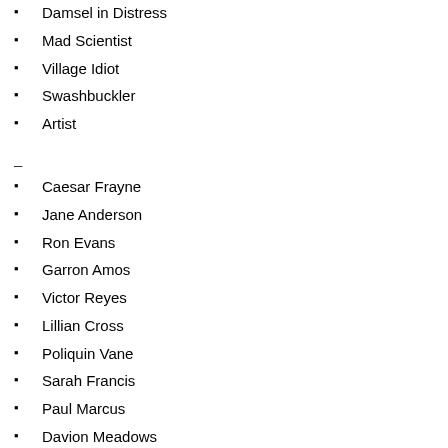Damsel in Distress
Mad Scientist
Village Idiot
Swashbuckler
Artist
–
Caesar Frayne
Jane Anderson
Ron Evans
Garron Amos
Victor Reyes
Lillian Cross
Poliquin Vane
Sarah Francis
Paul Marcus
Davion Meadows
Wilmer Kaine
Emmeline Cooper